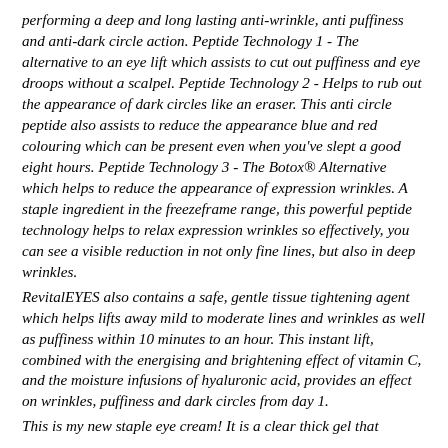performing a deep and long lasting anti-wrinkle, anti puffiness and anti-dark circle action. Peptide Technology 1 - The alternative to an eye lift which assists to cut out puffiness and eye droops without a scalpel. Peptide Technology 2 - Helps to rub out the appearance of dark circles like an eraser. This anti circle peptide also assists to reduce the appearance blue and red colouring which can be present even when you've slept a good eight hours. Peptide Technology 3 - The Botox® Alternative which helps to reduce the appearance of expression wrinkles. A staple ingredient in the freezeframe range, this powerful peptide technology helps to relax expression wrinkles so effectively, you can see a visible reduction in not only fine lines, but also in deep wrinkles.
RevitalEYES also contains a safe, gentle tissue tightening agent which helps lifts away mild to moderate lines and wrinkles as well as puffiness within 10 minutes to an hour. This instant lift, combined with the energising and brightening effect of vitamin C, and the moisture infusions of hyaluronic acid, provides an effect on wrinkles, puffiness and dark circles from day 1.
This is my new staple eye cream! It is a clear thick gel that